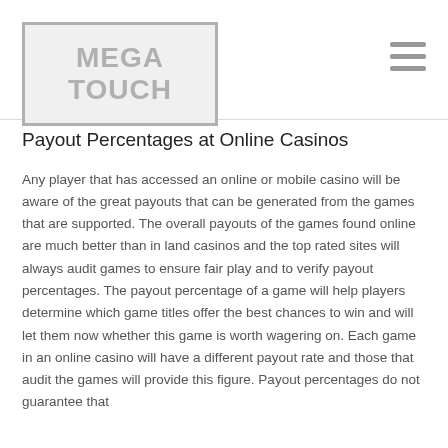MEGA TOUCH
Payout Percentages at Online Casinos
Any player that has accessed an online or mobile casino will be aware of the great payouts that can be generated from the games that are supported. The overall payouts of the games found online are much better than in land casinos and the top rated sites will always audit games to ensure fair play and to verify payout percentages. The payout percentage of a game will help players determine which game titles offer the best chances to win and will let them now whether this game is worth wagering on. Each game in an online casino will have a different payout rate and those that audit the games will provide this figure. Payout percentages do not guarantee that